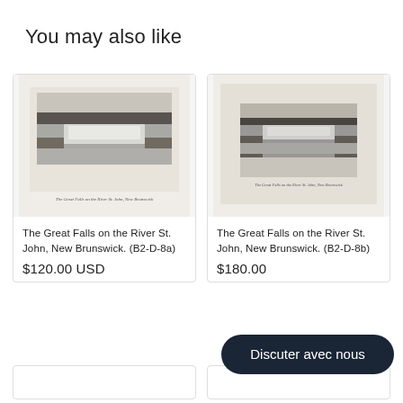You may also like
[Figure (photo): Black and white etching/print of The Great Falls on the River St. John, New Brunswick. Shows a wide waterfall with trees on the top edge and rocky shores.]
The Great Falls on the River St. John, New Brunswick. (B2-D-8a)
$120.00 USD
[Figure (photo): Black and white etching/print of The Great Falls on the River St. John, New Brunswick. Smaller inset image of falls with trees and sky visible.]
The Great Falls on the River St. John, New Brunswick. (B2-D-8b)
$180.00
Discuter avec nous